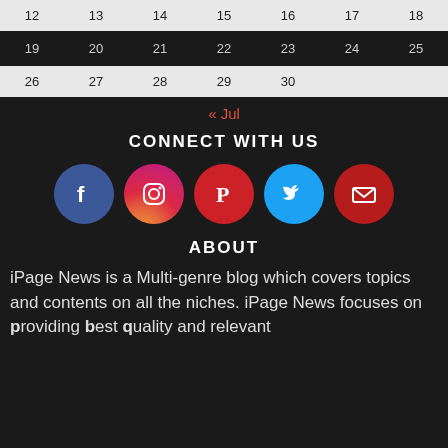| 12 | 13 | 14 | 15 | 16 | 17 | 18 |
| 19 | 20 | 21 | 22 | 23 | 24 | 25 |
| 26 | 27 | 28 | 29 | 30 |  |  |
« Jul
CONNECT WITH US
[Figure (infographic): Row of 5 social media icons: Facebook (blue circle), Instagram (gradient circle), Pinterest (red circle), Twitter (cyan circle), Email (dark red circle)]
ABOUT
iPage News is a Multi-genre blog which covers topics and contents on all the niches. iPage News focuses on providing best quality and relevant